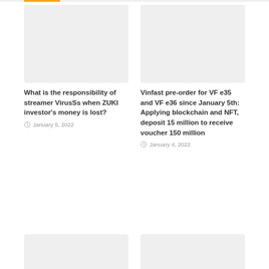[Figure (photo): Placeholder image for article about streamer VirusSs and ZUKI investor money]
What is the responsibility of streamer VirusSs when ZUKI investor's money is lost?
January 5, 2022
[Figure (photo): Placeholder image for article about Vinfast pre-order VF e35 and VF e36]
Vinfast pre-order for VF e35 and VF e36 since January 5th: Applying blockchain and NFT, deposit 15 million to receive voucher 150 million
January 4, 2022
[Figure (photo): Placeholder image for third article]
[Figure (photo): Placeholder image for fourth article]